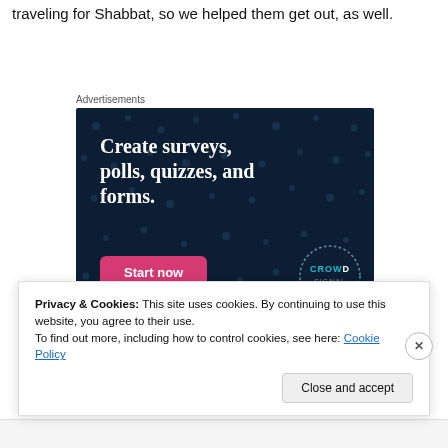traveling for Shabbat, so we helped them get out, as well.
Advertisements
[Figure (infographic): Dark navy blue advertisement box with white bold serif text reading 'Create surveys, polls, quizzes, and forms.' with a pink 'Start now' button and a circular logo in the bottom right corner reading 'CROWD'.]
Privacy & Cookies: This site uses cookies. By continuing to use this website, you agree to their use.
To find out more, including how to control cookies, see here: Cookie Policy
Close and accept